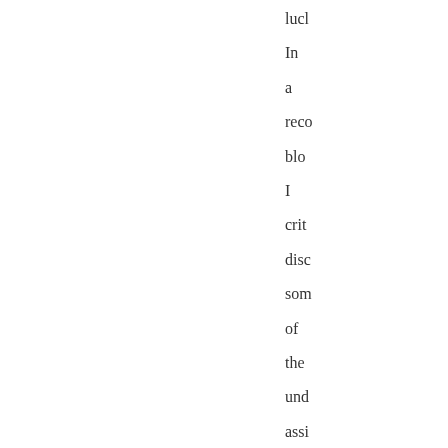lucl In a reco blo I crit disc som of the und assi of the pro <ht vs- exp phi In par I